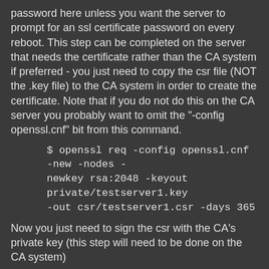password here unless you want the server to prompt for an ssl certificate password on every reboot. This step can be completed on the server that needs the certificate rather than the CA system if preferred - you just need to copy the csr file (NOT the .key file) to the CA system in order to create the certificate. Note that if you do not do this on the CA server you probably want to omit the "-config openssl.cnf" bit from this command.
$ openssl req -config openssl.cnf -new -nodes -newkey rsa:2048 -keyout private/testserver1.key -out csr/testserver1.csr -days 365
Now you just need to sign the csr with the CA's private key (this step will need to be done on the CA system)
$ openssl ca -config openssl.cnf -out certs/testserver1.crt -infiles csr/testserver1.csr
You will now have the signed ssl certificate for the server in certs/testserver1.crt, the serial file will have been incremented by 1 and the index.txt file will have an entry for the certificate you just created.